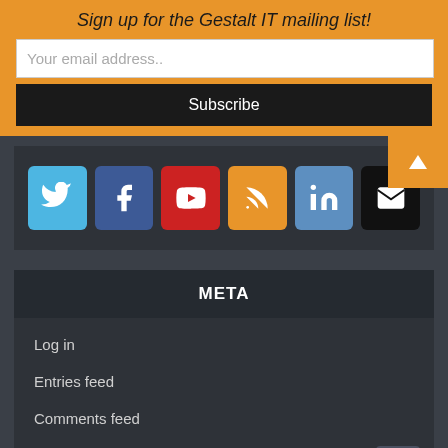Sign up for the Gestalt IT mailing list!
Your email address..
Subscribe
[Figure (infographic): Row of social media icon buttons: Twitter (blue), Facebook (dark blue), YouTube (red), RSS (orange), LinkedIn (steel blue), Email (black)]
META
Log in
Entries feed
Comments feed
WordPress.org